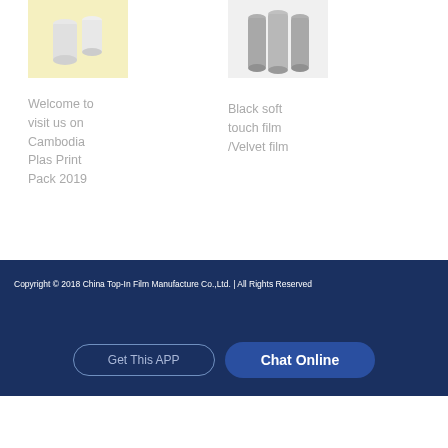[Figure (photo): White/transparent plastic film rolls or tubes on a yellow background]
Welcome to visit us on Cambodia Plas Print Pack 2019
[Figure (photo): Black soft touch film / velvet film rolls standing upright on light gray background]
Black soft touch film /Velvet film
Copyright © 2018 China Top-In Film Manufacture Co.,Ltd. | All Rights Reserved
Get This APP
Chat Online